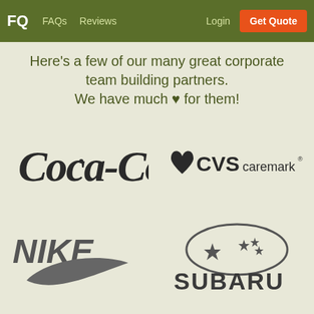FQ  FAQs  Reviews  Login  Get Quote
Here's a few of our many great corporate team building partners.
We have much ♥ for them!
[Figure (logo): Coca-Cola logo in dark script lettering]
[Figure (logo): CVS caremark logo with heart icon]
[Figure (logo): NIKE logo with swoosh]
[Figure (logo): SUBARU logo with star emblem]